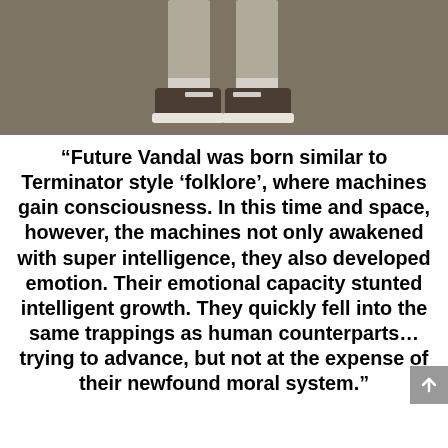[Figure (photo): Photo showing the lower half of a person's body — legs in light grey/khaki pants and dark sneakers with white soles, standing on a khaki/brown background]
“Future Vandal was born similar to Terminator style ‘folklore’, where machines gain consciousness. In this time and space, however, the machines not only awakened with super intelligence, they also developed emotion. Their emotional capacity stunted intelligent growth. They quickly fell into the same trappings as human counterparts…trying to advance, but not at the expense of their newfound moral system.”